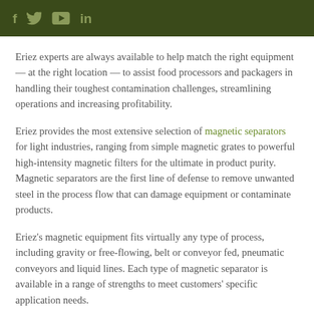f  y  ▶  in
Eriez experts are always available to help match the right equipment — at the right location — to assist food processors and packagers in handling their toughest contamination challenges, streamlining operations and increasing profitability.
Eriez provides the most extensive selection of magnetic separators for light industries, ranging from simple magnetic grates to powerful high-intensity magnetic filters for the ultimate in product purity. Magnetic separators are the first line of defense to remove unwanted steel in the process flow that can damage equipment or contaminate products.
Eriez's magnetic equipment fits virtually any type of process, including gravity or free-flowing, belt or conveyor fed, pneumatic conveyors and liquid lines. Each type of magnetic separator is available in a range of strengths to meet customers' specific application needs.